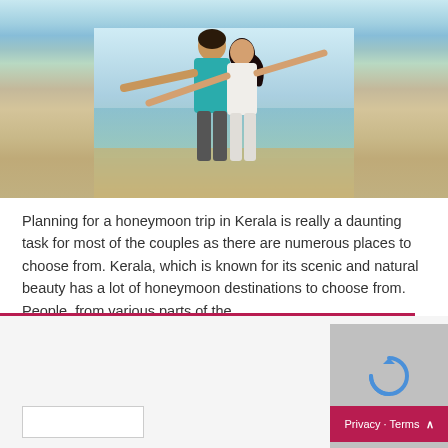[Figure (photo): A couple standing on a beach with arms outstretched, woman in white top, man in teal shirt, ocean and sky in background]
Planning for a honeymoon trip in Kerala is really a daunting task for most of the couples as there are numerous places to choose from. Kerala, which is known for its scenic and natural beauty has a lot of honeymoon destinations to choose from. People, from various parts of the …
Read More »